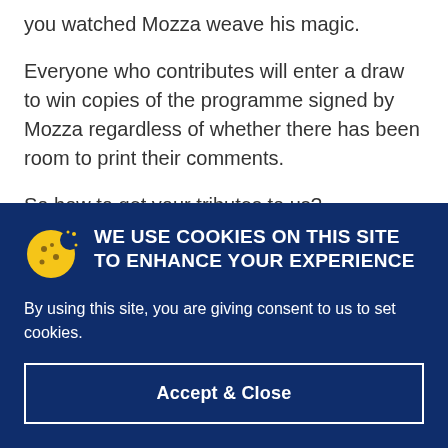you watched Mozza weave his magic.
Everyone who contributes will enter a draw to win copies of the programme signed by Mozza regardless of whether there has been room to print their comments.
So how to get your tributes to us?
WE USE COOKIES ON THIS SITE TO ENHANCE YOUR EXPERIENCE
By using this site, you are giving consent to us to set cookies.
Accept & Close